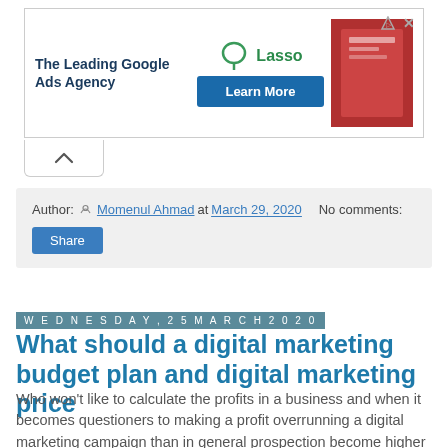[Figure (other): Advertisement banner: 'The Leading Google Ads Agency' with Lasso logo, 'Learn More' button, and a product photo on the right, with close/info icons in the top-right corner.]
Author: Momenul Ahmad at March 29, 2020   No comments:   Share
Wednesday, 25 March 2020
What should a digital marketing budget plan and digital marketing price
Who won't like to calculate the profits in a business and when it becomes questioners to making a profit overrunning a digital marketing campaign than in general prospection become higher than the digital marketing budget.